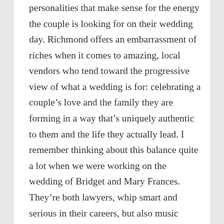personalities that make sense for the energy the couple is looking for on their wedding day. Richmond offers an embarrassment of riches when it comes to amazing, local vendors who tend toward the progressive view of what a wedding is for: celebrating a couple's love and the family they are forming in a way that's uniquely authentic to them and the life they actually lead. I remember thinking about this balance quite a lot when we were working on the wedding of Bridget and Mary Frances. They're both lawyers, whip smart and serious in their careers, but also music lovers with a sarcastic, hilarious way about them. They married on Capitol Square, the centerpiece of the Commonwealth and the heart of Virginia